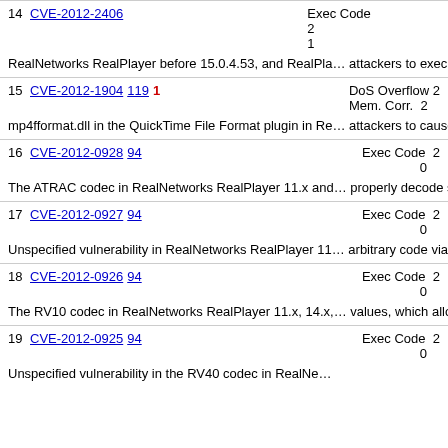14 CVE-2012-2406  Exec Code  2...1...
RealNetworks RealPlayer before 15.0.4.53, and RealPla... attackers to execute arbitrary code via a crafted file.
15 CVE-2012-1904 119  1 DoS Overflow  2... Mem. Corr.  2...
mp4fformat.dll in the QuickTime File Format plugin in Re... attackers to cause a denial of service (memory corruptio...
16 CVE-2012-0928 94  Exec Code  2... 0...
The ATRAC codec in RealNetworks RealPlayer 11.x and... properly decode samples, which allows remote attackers...
17 CVE-2012-0927 94  Exec Code  2... 0...
Unspecified vulnerability in RealNetworks RealPlayer 11... arbitrary code via vectors involving the coded_frame_siz...
18 CVE-2012-0926 94  Exec Code  2... 0...
The RV10 codec in RealNetworks RealPlayer 11.x, 14.x,... values, which allows remote attackers to execute arbitra...
19 CVE-2012-0925 94  Exec Code  2... 0...
Unspecified vulnerability in the RV40 codec in RealNe...